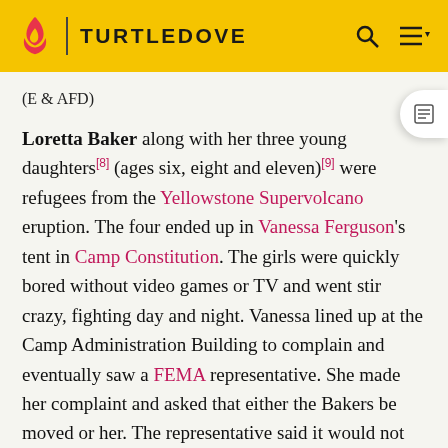TURTLEDOVE
(E & AFD)
Loretta Baker along with her three young daughters[8] (ages six, eight and eleven)[9] were refugees from the Yellowstone Supervolcano eruption. The four ended up in Vanessa Ferguson's tent in Camp Constitution. The girls were quickly bored without video games or TV and went stir crazy, fighting day and night. Vanessa lined up at the Camp Administration Building to complain and eventually saw a FEMA representative. She made her complaint and asked that either the Bakers be moved or her. The representative said it would not be easy to make changes and hinted that sexual favors would help get things done. Vanessa initially refused.[10] but later relented. However,